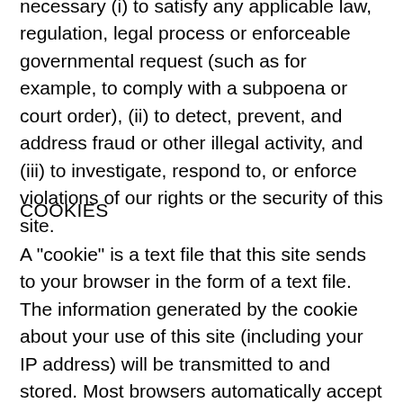necessary (i) to satisfy any applicable law, regulation, legal process or enforceable governmental request (such as for example, to comply with a subpoena or court order), (ii) to detect, prevent, and address fraud or other illegal activity, and (iii) to investigate, respond to, or enforce violations of our rights or the security of this site.
COOKIES
A "cookie" is a text file that this site sends to your browser in the form of a text file. The information generated by the cookie about your use of this site (including your IP address) will be transmitted to and stored. Most browsers automatically accept cookies, but they usually can be modified to decline cookies if you prefer; however, certain